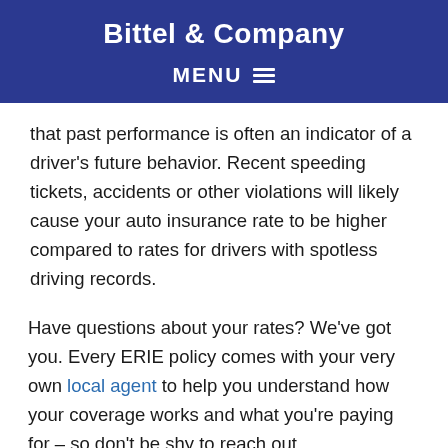Bittel & Company
MENU
that past performance is often an indicator of a driver's future behavior. Recent speeding tickets, accidents or other violations will likely cause your auto insurance rate to be higher compared to rates for drivers with spotless driving records.
Have questions about your rates? We've got you. Every ERIE policy comes with your very own local agent to help you understand how your coverage works and what you're paying for – so don't be shy to reach out.